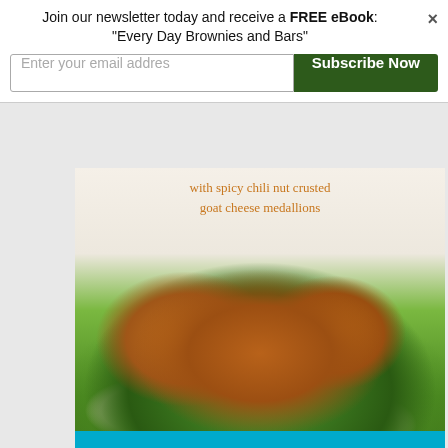Join our newsletter today and receive a FREE eBook: "Every Day Brownies and Bars"
[Figure (screenshot): Email subscription form with text input field 'Enter your email addres' and a dark green 'Subscribe Now' button, plus a close (×) button]
[Figure (photo): Food photo of a salad with spicy chili nut crusted goat cheese medallions on a bed of mixed greens, apple slices, and dried cranberries, with text overlay 'with spicy chili nut crusted goat cheese medallions']